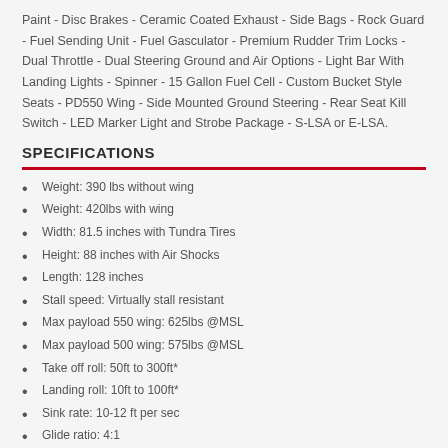Paint - Disc Brakes - Ceramic Coated Exhaust - Side Bags - Rock Guard - Fuel Sending Unit - Fuel Gasculator - Premium Rudder Trim Locks - Dual Throttle - Dual Steering Ground and Air Options - Light Bar With Landing Lights - Spinner - 15 Gallon Fuel Cell - Custom Bucket Style Seats - PD550 Wing - Side Mounted Ground Steering - Rear Seat Kill Switch - LED Marker Light and Strobe Package - S-LSA or E-LSA.
SPECIFICATIONS
Weight: 390 lbs without wing
Weight: 420lbs with wing
Width: 81.5 inches with Tundra Tires
Height: 88 inches with Air Shocks
Length: 128 inches
Stall speed: Virtually stall resistant
Max payload 550 wing: 625lbs @MSL
Max payload 500 wing: 575lbs @MSL
Take off roll: 50ft to 300ft*
Landing roll: 10ft to 100ft*
Sink rate: 10-12 ft per sec
Glide ratio: 4:1
Airspeed: 27-34 mph*